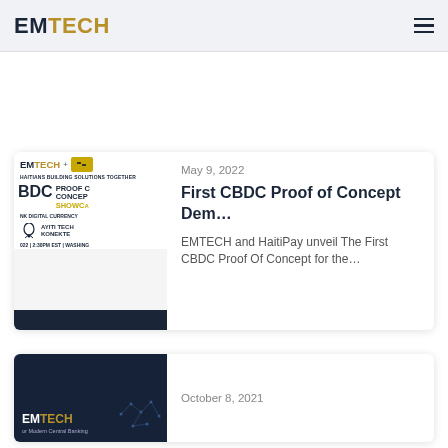EMTECH
[Figure (illustration): EMTECH + HaitiPay promotional banner for First CBDC Proof of Concept Showcase, Haitians Building Solutions Together, Ayiti Tech Konekte, May 9 2022, 2:30PM EST, Washington]
May 9, 2022
First CBDC Proof of Concept Dem…
EMTECH and HaitiPay unveil The First CBDC Proof Of Concept for the…
[Figure (illustration): EMTECH dark blue banner with network dots pattern, subtitle: for Modern Central Banking]
October 8, 2021